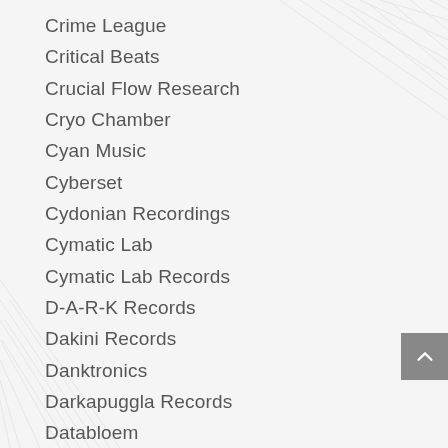Crime League
Critical Beats
Crucial Flow Research
Cryo Chamber
Cyan Music
Cyberset
Cydonian Recordings
Cymatic Lab
Cymatic Lab Records
D-A-R-K Records
Dakini Records
Danktronics
Darkapuggla Records
Databloem
Deep Heads
Delicious Music
Delsin Records